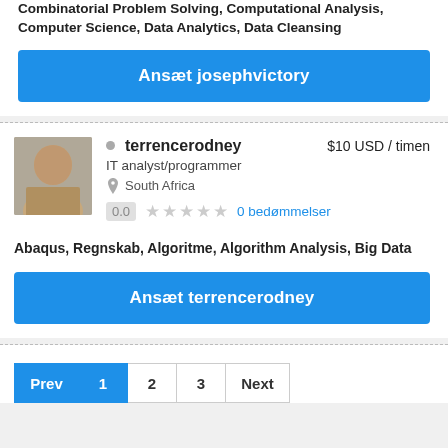Combinatorial Problem Solving, Computational Analysis, Computer Science, Data Analytics, Data Cleansing
Ansæt josephvictory
terrencerodney $10 USD / timen IT analyst/programmer South Africa 0.0 0 bedømmelser Abaqus, Regnskab, Algoritme, Algorithm Analysis, Big Data
Ansæt terrencerodney
Prev 1 2 3 Next